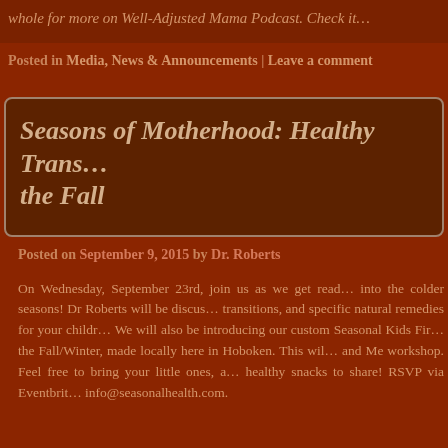whole for more on Well-Adjusted Mama Podcast. Check it…
Posted in Media, News & Announcements | Leave a comment
Seasons of Motherhood: Healthy Transitions into the Fall
Posted on September 9, 2015 by Dr. Roberts
On Wednesday, September 23rd, join us as we get ready into the colder seasons! Dr Roberts will be discussing transitions, and specific natural remedies for your children. We will also be introducing our custom Seasonal Kids First Aid for the Fall/Winter, made locally here in Hoboken. This will be a Baby and Me workshop. Feel free to bring your little ones, and healthy snacks to share! RSVP via Eventbrite or info@seasonalhealth.com.